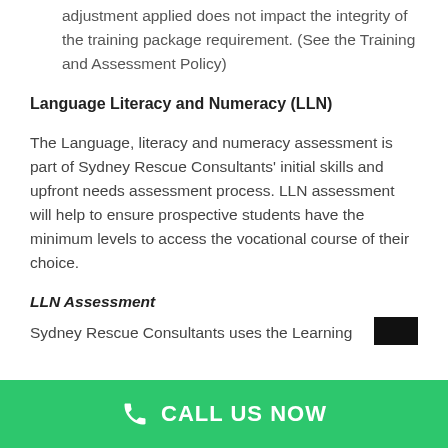adjustment applied does not impact the integrity of the training package requirement. (See the Training and Assessment Policy)
Language Literacy and Numeracy (LLN)
The Language, literacy and numeracy assessment is part of Sydney Rescue Consultants' initial skills and upfront needs assessment process. LLN assessment will help to ensure prospective students have the minimum levels to access the vocational course of their choice.
LLN Assessment
Sydney Rescue Consultants uses the Learning
CALL US NOW